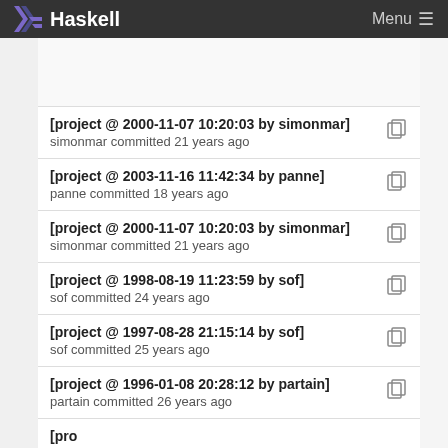Haskell   Menu
[project @ 2000-11-07 10:20:03 by simonmar]
simonmar committed 21 years ago
[project @ 2003-11-16 11:42:34 by panne]
panne committed 18 years ago
[project @ 2000-11-07 10:20:03 by simonmar]
simonmar committed 21 years ago
[project @ 1998-08-19 11:23:59 by sof]
sof committed 24 years ago
[project @ 1997-08-28 21:15:14 by sof]
sof committed 25 years ago
[project @ 1996-01-08 20:28:12 by partain]
partain committed 26 years ago